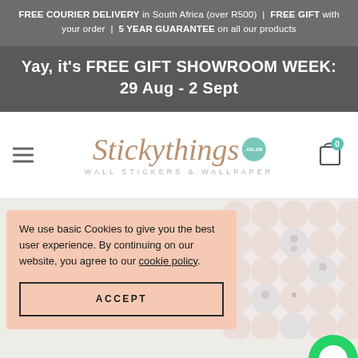FREE COURIER DELIVERY in South Africa (over R500) | FREE GIFT with your order | 5 YEAR GUARANTEE on all our products
Yay, it's FREE GIFT SHOWROOM WEEK: 29 Aug - 2 Sept
[Figure (logo): Stickythings.co.za wall stickers and wallpaper logo with hamburger menu and cart icon]
We use basic Cookies to give you the best user experience. By continuing on our website, you agree to our cookie policy.
[Figure (photo): Wallpaper with repeating cute mouse/bear face pattern in light pink and gray tones]
[Figure (illustration): WhatsApp green circular button icon]